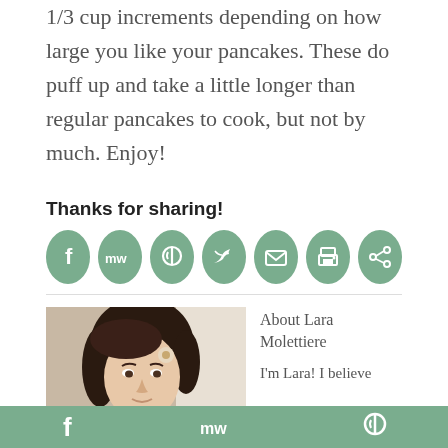1/3 cup increments depending on how large you like your pancakes. These do puff up and take a little longer than regular pancakes to cook, but not by much. Enjoy!
Thanks for sharing!
[Figure (infographic): Row of 7 social sharing icon buttons: Facebook, MW, Pinterest, Twitter, Email, Print, Share — all green circles with white icons]
[Figure (photo): Photo of Lara Molettiere, a woman with dark hair looking to the side]
About Lara Molettiere
I'm Lara! I believe
f  MW  P